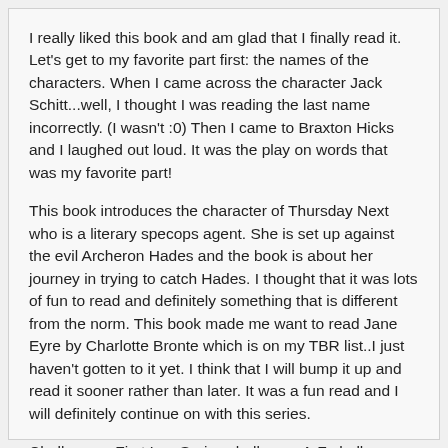I really liked this book and am glad that I finally read it. Let's get to my favorite part first: the names of the characters. When I came across the character Jack Schitt...well, I thought I was reading the last name incorrectly. (I wasn't :0) Then I came to Braxton Hicks and I laughed out loud. It was the play on words that was my favorite part!
This book introduces the character of Thursday Next who is a literary specops agent. She is set up against the evil Archeron Hades and the book is about her journey in trying to catch Hades. I thought that it was lots of fun to read and definitely something that is different from the norm. This book made me want to read Jane Eyre by Charlotte Bronte which is on my TBR list..I just haven't gotten to it yet. I think that I will bump it up and read it sooner rather than later. It was a fun read and I will definitely continue on with this series.
Challenges: First In a Series challenge, A-Z challenge ("E" title)
My Rating: 4 out of 5